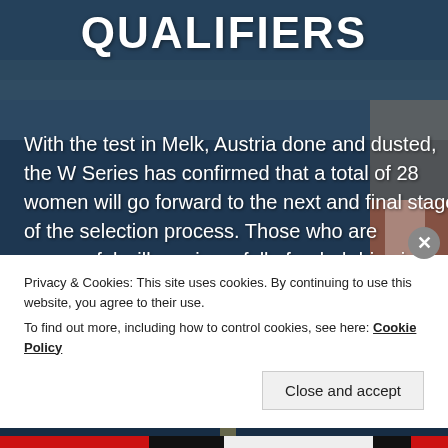[Figure (photo): Background photo of a Porsche sports car (blue) with racing trophies and a woman in racing overalls, at a motorsport venue. Image is darkened.]
QUALIFIERS
With the test in Melk, Austria done and dusted, the W Series has confirmed that a total of 28 women will go forward to the next and final stage of the selection process. Those who are successful will receive a fully-funded drive in the inaugural year of the female-only motorsport series. In a three-part article, [...]
Read More
Privacy & Cookies: This site uses cookies. By continuing to use this website, you agree to their use.
To find out more, including how to control cookies, see here: Cookie Policy
Close and accept